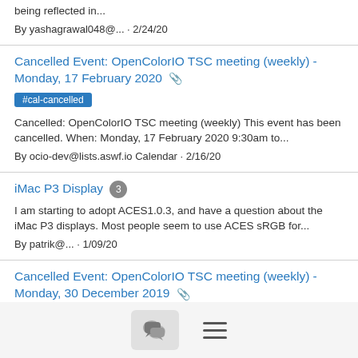being reflected in...
By yashagrawal048@... · 2/24/20
Cancelled Event: OpenColorIO TSC meeting (weekly) - Monday, 17 February 2020 📎
#cal-cancelled
Cancelled: OpenColorIO TSC meeting (weekly) This event has been cancelled. When: Monday, 17 February 2020 9:30am to...
By ocio-dev@lists.aswf.io Calendar · 2/16/20
iMac P3 Display 3
I am starting to adopt ACES1.0.3, and have a question about the iMac P3 displays. Most people seem to use ACES sRGB for...
By patrik@... · 1/09/20
Cancelled Event: OpenColorIO TSC meeting (weekly) - Monday, 30 December 2019 📎
#cal-cancelled
Cancelled: OpenColorIO TSC meeting (weekly) This event has